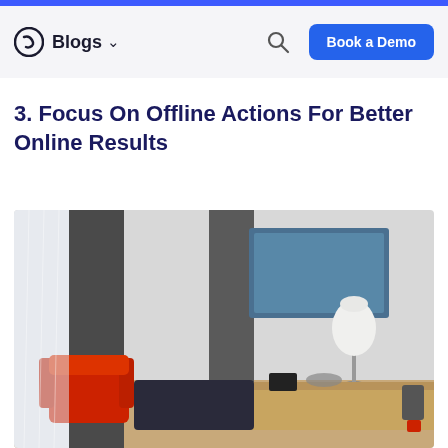Blogs | Book a Demo
3. Focus On Offline Actions For Better Online Results
[Figure (photo): Hotel room interior with red armchair, dark curtains, a flat-screen TV mounted on the wall, a desk lamp, and a wooden desk.]